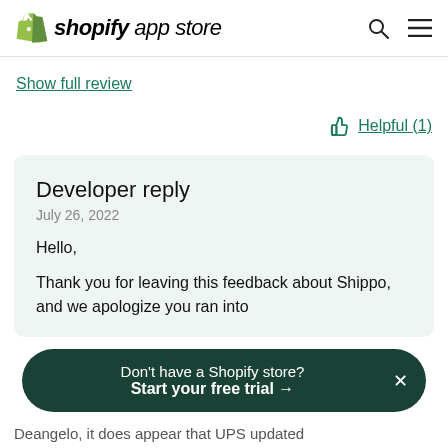shopify app store
Show full review
Helpful (1)
Developer reply
July 26, 2022
Hello,
Thank you for leaving this feedback about Shippo, and we apologize you ran into
Don't have a Shopify store? Start your free trial →
Deangelo, it does appear that UPS updated